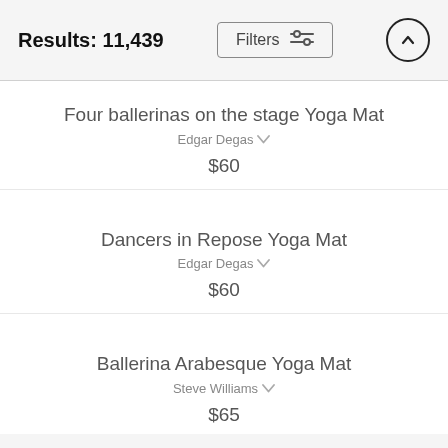Results: 11,439
Filters
Four ballerinas on the stage Yoga Mat
Edgar Degas
$60
Dancers in Repose Yoga Mat
Edgar Degas
$60
Ballerina Arabesque Yoga Mat
Steve Williams
$65